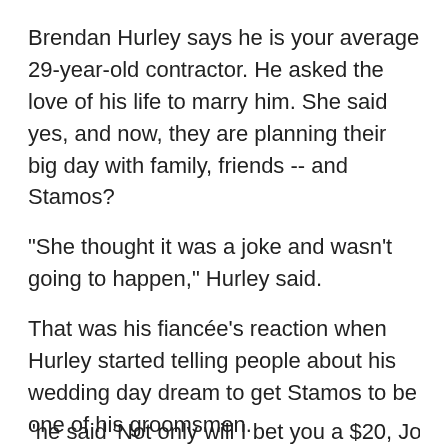Brendan Hurley says he is your average 29-year-old contractor. He asked the love of his life to marry him. She said yes, and now, they are planning their big day with family, friends -- and Stamos?
"She thought it was a joke and wasn't going to happen," Hurley said.
That was his fiancée's reaction when Hurley started telling people about his wedding day dream to get Stamos to be one of his groomsmen.
"Look at the guy, he's amazing," Hurley said. "It would just be hilarious."
This started as a bet with a friend.
"he said 'Not only will I bet you a $20, John Stamos is going to...